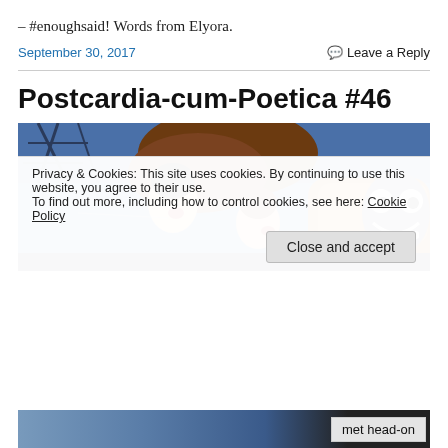– #enoughsaid! Words from Elyora.
September 30, 2017   Leave a Reply
Postcardia-cum-Poetica #46
[Figure (illustration): Anime scene from My Neighbor Totoro showing two children and Totoro riding in a vehicle, with a blue background and tree branches]
Privacy & Cookies: This site uses cookies. By continuing to use this website, you agree to their use.
To find out more, including how to control cookies, see here: Cookie Policy
Close and accept
met head-on